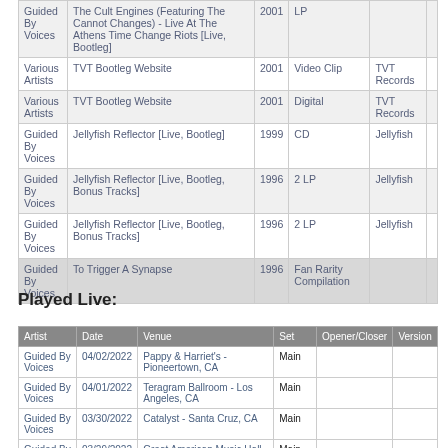| Artist | Title | Year | Format | Label |  |
| --- | --- | --- | --- | --- | --- |
| Guided By Voices | The Cult Engines (Featuring The Cannot Changes) - Live At The Athens Time Change Riots [Live, Bootleg] | 2001 | LP |  |  |
| Various Artists | TVT Bootleg Website | 2001 | Video Clip | TVT Records |  |
| Various Artists | TVT Bootleg Website | 2001 | Digital | TVT Records |  |
| Guided By Voices | Jellyfish Reflector [Live, Bootleg] | 1999 | CD | Jellyfish |  |
| Guided By Voices | Jellyfish Reflector [Live, Bootleg, Bonus Tracks] | 1996 | 2 LP | Jellyfish |  |
| Guided By Voices | Jellyfish Reflector [Live, Bootleg, Bonus Tracks] | 1996 | 2 LP | Jellyfish |  |
| Guided By Voices | To Trigger A Synapse | 1996 | Fan Rarity Compilation |  |  |
Played Live:
| Artist | Date | Venue | Set | Opener/Closer | Version |
| --- | --- | --- | --- | --- | --- |
| Guided By Voices | 04/02/2022 | Pappy & Harriet's - Pioneertown, CA | Main |  |  |
| Guided By Voices | 04/01/2022 | Teragram Ballroom - Los Angeles, CA | Main |  |  |
| Guided By Voices | 03/30/2022 | Catalyst - Santa Cruz, CA | Main |  |  |
| Guided By Voices | 03/29/2022 | Great American Music Hall - San Francisco, CA | Main |  |  |
| Guided By Voices | 03/27/2022 | Revolution Hall - Portland, OR | Main |  |  |
| Guided By Voices | 03/26/2022 | Neumos - Seattle, WA | Encore |  |  |